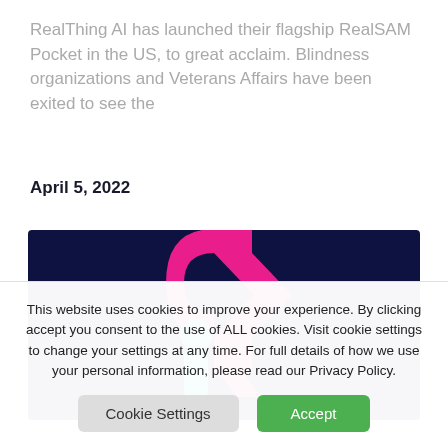RealThing AI has launched their flagship RealSAM Pocket in the US, to great acclaim.  Blindness organizations and Veterans Affairs have been exited to see the
April 5, 2022
[Figure (logo): RealThing AI logo on dark navy background — stylized letter R made of pink/magenta angular chevron shape and cyan/blue teardrop shape forming letter R with dot]
This website uses cookies to improve your experience. By clicking accept you consent to the use of ALL cookies. Visit cookie settings to change your settings at any time. For full details of how we use your personal information, please read our Privacy Policy.